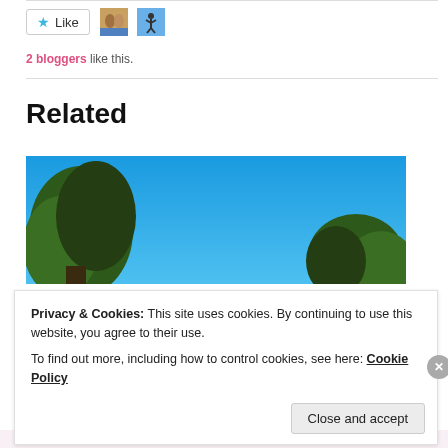[Figure (other): Like button with star icon, two blogger avatar thumbnails]
2 bloggers like this.
Related
[Figure (photo): Outdoor photo showing green trees against a bright blue sky]
Privacy & Cookies: This site uses cookies. By continuing to use this website, you agree to their use.
To find out more, including how to control cookies, see here: Cookie Policy
Close and accept